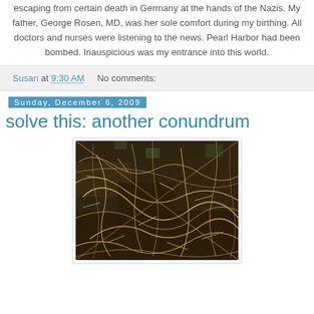escaping from certain death in Germany at the hands of the Nazis. My father, George Rosen, MD, was her sole comfort during my birthing. All doctors and nurses were listening to the news. Pearl Harbor had been bombed. Inauspicious was my entrance into this world.
Susan at 9:30 AM    No comments:
Sunday, December 6, 2009
solve this: another conundrum
[Figure (photo): A close-up photograph of tangled dry brush, twigs, and dead grass on dark soil ground, appearing to be a nature/outdoor scene in winter or dry season.]